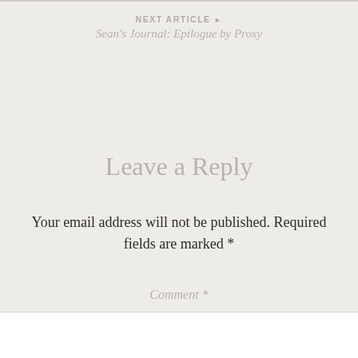NEXT ARTICLE ▶
Sean's Journal: Epilogue by Proxy
Leave a Reply
Your email address will not be published. Required fields are marked *
Comment *